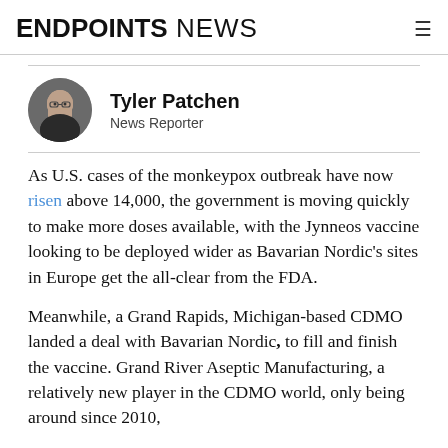ENDPOINTS NEWS
[Figure (photo): Circular headshot of Tyler Patchen, a man wearing glasses and a dark shirt]
Tyler Patchen
News Reporter
As U.S. cases of the monkeypox outbreak have now risen above 14,000, the government is moving quickly to make more doses available, with the Jynneos vaccine looking to be deployed wider as Bavarian Nordic's sites in Europe get the all-clear from the FDA.
Meanwhile, a Grand Rapids, Michigan-based CDMO landed a deal with Bavarian Nordic, to fill and finish the vaccine. Grand River Aseptic Manufacturing, a relatively new player in the CDMO world, only being around since 2010,